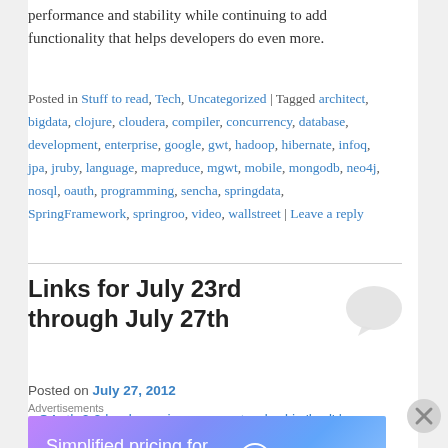performance and stability while continuing to add functionality that helps developers do even more.
Posted in Stuff to read, Tech, Uncategorized | Tagged architect, bigdata, clojure, cloudera, compiler, concurrency, database, development, enterprise, google, gwt, hadoop, hibernate, infoq, jpa, jruby, language, mapreduce, mgwt, mobile, mongodb, neo4j, nosql, oauth, programming, sencha, springdata, SpringFramework, springroo, video, wallstreet | Leave a reply
Links for July 23rd through July 27th
Posted on July 27, 2012
OAuth 2.0 leader resigns, says standard is 'bad' |